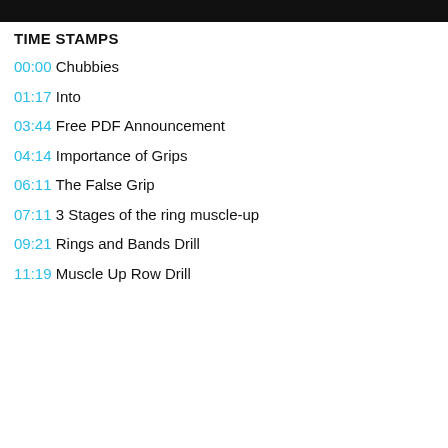TIME STAMPS
00:00 Chubbies
01:17 Into
03:44 Free PDF Announcement
04:14 Importance of Grips
06:11 The False Grip
07:11 3 Stages of the ring muscle-up
09:21 Rings and Bands Drill
11:19 Muscle Up Row Drill